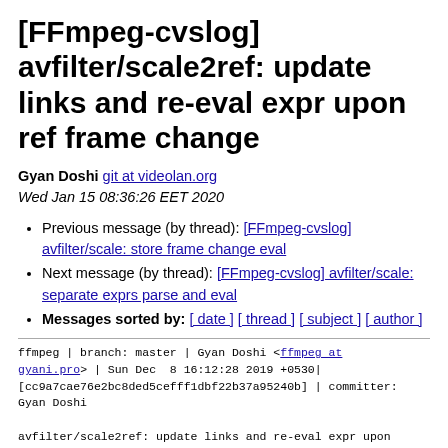[FFmpeg-cvslog] avfilter/scale2ref: update links and re-eval expr upon ref frame change
Gyan Doshi git at videolan.org
Wed Jan 15 08:36:26 EET 2020
Previous message (by thread): [FFmpeg-cvslog] avfilter/scale: store frame change eval
Next message (by thread): [FFmpeg-cvslog] avfilter/scale: separate exprs parse and eval
Messages sorted by: [ date ] [ thread ] [ subject ] [ author ]
ffmpeg | branch: master | Gyan Doshi <ffmpeg at gyani.pro> | Sun Dec  8 16:12:28 2019 +0530| [cc9a7cae76e2bc8ded5cefff1dbf22b37a95240b] | committer: Gyan Doshi

avfilter/scale2ref: update links and re-eval expr upon ref frame change